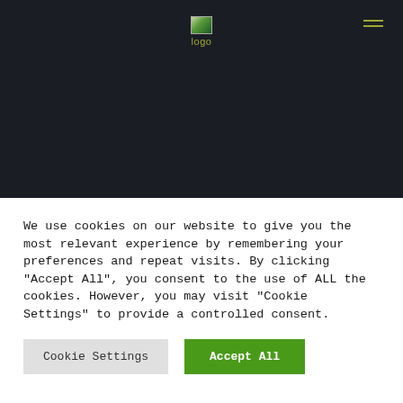[Figure (logo): Website logo with small image icon and text 'logo' in olive/yellow-green color on dark background, with hamburger menu icon top right]
We use cookies on our website to give you the most relevant experience by remembering your preferences and repeat visits. By clicking "Accept All", you consent to the use of ALL the cookies. However, you may visit "Cookie Settings" to provide a controlled consent.
Cookie Settings | Accept All